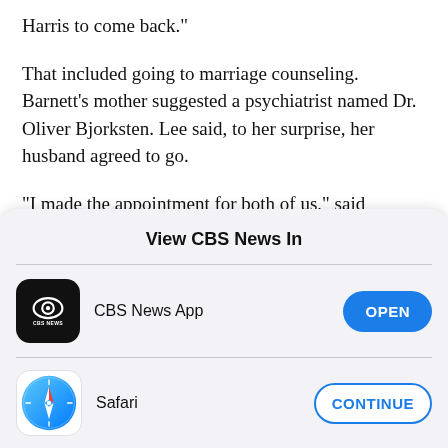Harris to come back."
That included going to marriage counseling. Barnett's mother suggested a psychiatrist named Dr. Oliver Bjorksten. Lee said, to her surprise, her husband agreed to go.
"I made the appointment for both of us," said Barnett.
View CBS News In
CBS News App — OPEN
Safari — CONTINUE